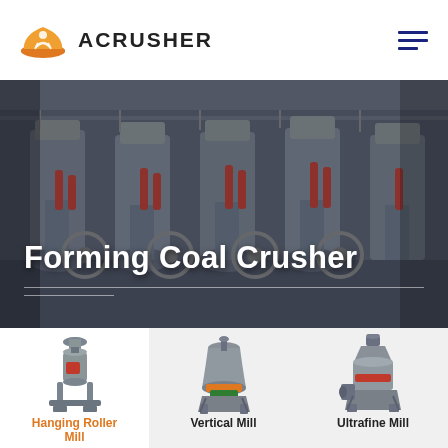[Figure (logo): Acrusher logo: orange hard hat icon with worker symbol, next to bold uppercase text ACRUSHER]
[Figure (photo): Industrial factory floor showing row of large grey forming coal crusher machines with red hydraulic cylinders and large flywheels]
Forming Coal Crusher
[Figure (photo): Hanging Roller Mill machine - tall narrow grey industrial grinding mill with red access door and support frame]
Hanging Roller Mill
[Figure (photo): Vertical Mill machine - grey conical industrial mill with orange/green highlights and wider base]
Vertical Mill
[Figure (photo): Ultrafine Mill machine - compact grey industrial mill with red accent and motor on top]
Ultrafine Mill